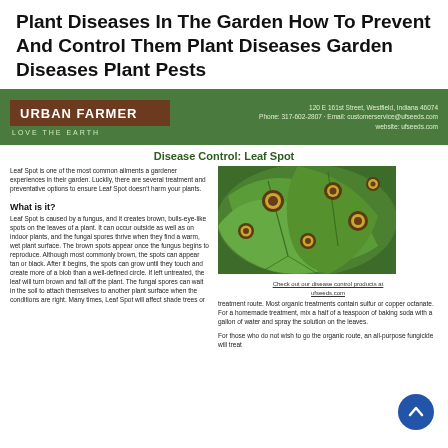Plant Diseases In The Garden How To Prevent And Control Them Plant Diseases Garden Diseases Plant Pests
[Figure (logo): Urban Farmer green header banner with logo box in brown saying URBAN FARMER, tagline LOVE THE EARTH, and contact details on right: 120 E 161st Street, Westfield, Indiana 46074, Phone: 317-602-2807, Email: customerservice@ufseeds.com, website: ufseeds.com]
Disease Control: Leaf Spot
Leaf Spot is one of the most common ailments a gardener experiences in their garden. Luckily, there are several treatment and preventative options to ensure Leaf Spot doesn't harm your plants.
What is it?
Leaf Spot is caused by a fungus, and it creates brown, bulls-eye-like spots on the leaves of a plant. It can occur outside as well as on indoor plants, and the fungal spores thrive when they find a warm, wet plant surface. The brown spots appear once the fungus begins to reproduce. Although most commonly brown, the spots can appear tan or black. After it begins, the spots can grow until they touch and create more of a blob than a well-defined circle. If left untreated, the leaf will turn brown and fall off the plant. The fungal spores can wait in the soil to attach themselves to another plant surface when the conditions are right. Many times, Leaf Spot will affect shade trees or
[Figure (photo): Close-up photo of green leaves with brown bulls-eye-like spots characteristic of Leaf Spot disease]
Check out our disease control products at ufseeds.com
treatment route. Most organic treatments contain sulfur or copper octanate. For a homemade treatment, mix a half of a teaspoon of baking soda with a gallon of water and spray the solution on the leaves.
For those who do not wish to go the organic route, an all-purpose fungicide will treat